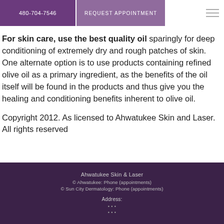480-704-7546  REQUEST APPOINTMENT
For skin care, use the best quality oil sparingly for deep conditioning of extremely dry and rough patches of skin. One alternate option is to use products containing refined olive oil as a primary ingredient, as the benefits of the oil itself will be found in the products and thus give you the healing and conditioning benefits inherent to olive oil.
Copyright 2012. As licensed to Ahwatukee Skin and Laser. All rights reserved
Ahwatukee Skin & Laser
© Ahwatukee: Phone (appointments)
© Sun City Dermatology: Phone (appointments)
Address:
...
...